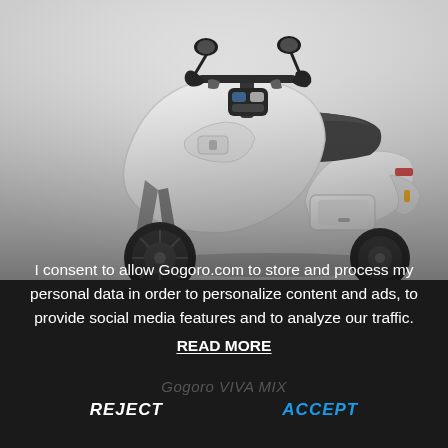[Figure (photo): White Gogoro VIVA MIX electric scooter photographed from a front-left angle against a light gray background, showing handlebars with mirrors, front body panel, seat, and partial rear/wheel.]
I consent to allow Gogoro.com to store and process my personal data in order to personalize content and ads, to provide social media features and to analyze our traffic. READ MORE
Gogoro VIVA MIX
REJECT
ACCEPT